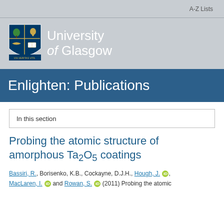A-Z Lists
[Figure (logo): University of Glasgow logo with shield crest and text 'University of Glasgow']
Enlighten: Publications
In this section
Probing the atomic structure of amorphous Ta2O5 coatings
Bassiri, R., Borisenko, K.B., Cockayne, D.J.H., Hough, J. [orcid], MacLaren, I. [orcid] and Rowan, S. [orcid] (2011) Probing the atomic